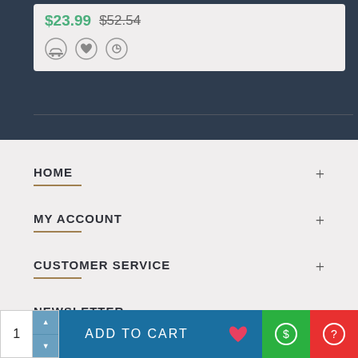$23.99  $52.54
HOME
MY ACCOUNT
CUSTOMER SERVICE
NEWSLETTER
Don't miss any updates or promotions by signing up to our
ADD TO CART